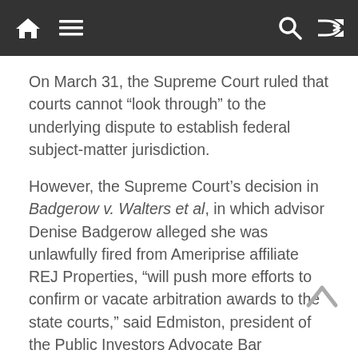[navigation bar with home, menu, search, shuffle icons]
On March 31, the Supreme Court ruled that courts cannot “look through” to the underlying dispute to establish federal subject-matter jurisdiction.
However, the Supreme Court’s decision in Badgerow v. Walters et al, in which advisor Denise Badgerow alleged she was unlawfully fired from Ameriprise affiliate REJ Properties, “will push more efforts to confirm or vacate arbitration awards to the state courts,” said Edmiston, president of the Public Investors Advocate Bar Association, or PIABA, a group of lawyers who represent investors in disputes with the securities industry.
Bottom line, according to Edmiston:
“The Badgerow decision does not change the use of